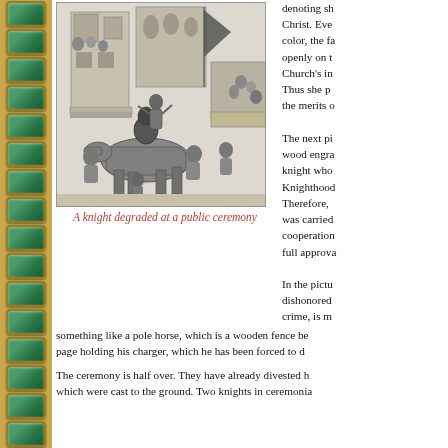[Figure (illustration): A black and white wood engraving depicting a knight being degraded at a public ceremony. A figure stands elevated on a platform or horse, surrounded by a crowd, with a flag and medieval buildings in the background.]
A knight degraded at a public ceremony
denoting sh... Christ. Eve... color, the fa... openly on t... Church's in... Thus she p... the merits o...
The next pi... wood engra... knight who... Knighthood... Therefore, ... was carried... cooperation... full approva...
In the pictu... dishonored... crime, is m... something like a pole horse, which is a wooden fence be... page holding his charger, which he has been forced to d...
The ceremony is half over. They have already divested h... which were cast to the ground. Two knights in ceremonia...